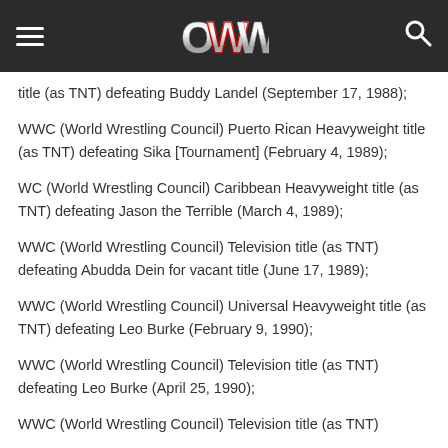OWW navigation header
title (as TNT) defeating Buddy Landel (September 17, 1988);
WWC (World Wrestling Council) Puerto Rican Heavyweight title (as TNT) defeating Sika [Tournament] (February 4, 1989);
WC (World Wrestling Council) Caribbean Heavyweight title (as TNT) defeating Jason the Terrible (March 4, 1989);
WWC (World Wrestling Council) Television title (as TNT) defeating Abudda Dein for vacant title (June 17, 1989);
WWC (World Wrestling Council) Universal Heavyweight title (as TNT) defeating Leo Burke (February 9, 1990);
WWC (World Wrestling Council) Television title (as TNT) defeating Leo Burke (April 25, 1990);
WWC (World Wrestling Council) Television title (as TNT)